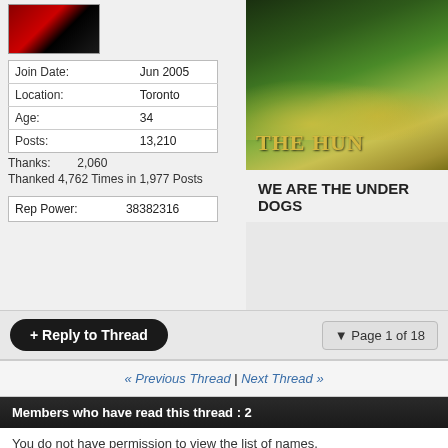[Figure (photo): Avatar image with red and black gradient design]
| Join Date: | Jun 2005 |
| Location: | Toronto |
| Age: | 34 |
| Posts: | 13,210 |
Thanks: 2,060
Thanked 4,762 Times in 1,977 Posts
| Rep Power: | 38382316 |
[Figure (photo): Book cover image with golden flowers and deer - The Hunt]
WE ARE THE UNDER DOGS
+ Reply to Thread
▼ Page 1 of 18
« Previous Thread | Next Thread »
Members who have read this thread : 2
You do not have permission to view the list of names.
Bookmarks
Posting Permissions